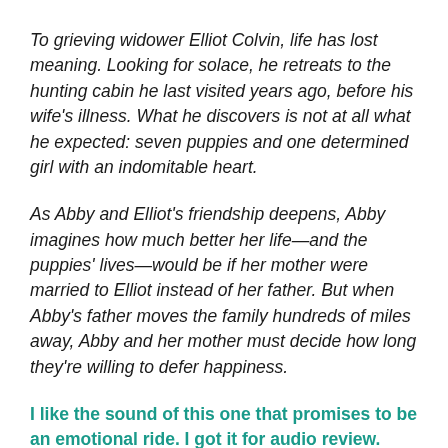To grieving widower Elliot Colvin, life has lost meaning. Looking for solace, he retreats to the hunting cabin he last visited years ago, before his wife's illness. What he discovers is not at all what he expected: seven puppies and one determined girl with an indomitable heart.
As Abby and Elliot's friendship deepens, Abby imagines how much better her life—and the puppies' lives—would be if her mother were married to Elliot instead of her father. But when Abby's father moves the family hundreds of miles away, Abby and her mother must decide how long they're willing to defer happiness.
I like the sound of this one that promises to be an emotional ride. I got it for audio review.